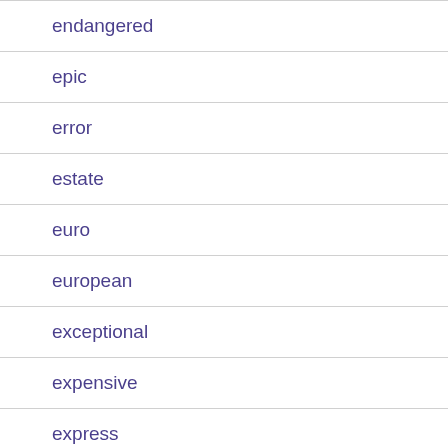endangered
epic
error
estate
euro
european
exceptional
expensive
express
exquisite